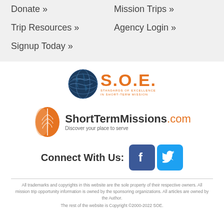Donate »
Mission Trips »
Trip Resources »
Agency Login »
Signup Today »
[Figure (logo): SOE Standards of Excellence logo with globe icon]
[Figure (logo): ShortTermMissions.com logo with wheat/leaf icon and tagline 'Discover your place to serve']
[Figure (logo): Connect With Us: Facebook and Twitter social media icons]
All trademarks and copyrights in this website are the sole property of their respective owners. All mission trip opportunity information is owned by the sponsoring organizations. All articles are owned by the Author.
The rest of the website is Copyright ©2000-2022 SOE.